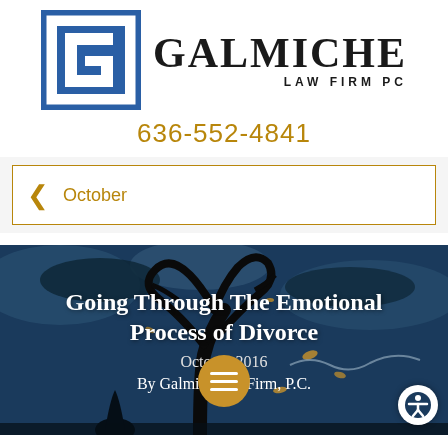[Figure (logo): Galmiche Law Firm PC logo with stylized G in blue square frame and firm name]
636-552-4841
< October
[Figure (illustration): Dark blue illustration of a heart-shaped tree with silhouettes, article header image for 'Going Through The Emotional Process of Divorce', dated October 2016, By Galmiche Law Firm, P.C.]